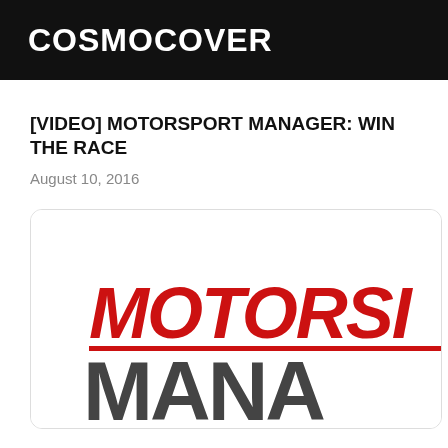COSMOCOVER
[VIDEO] MOTORSPORT MANAGER: WIN THE RACE
August 10, 2016
[Figure (logo): Motorsport Manager game logo showing 'MOTORSI' in red italic bold text above a red divider line and 'MANA' in large dark grey bold text, partially cropped on the right side.]